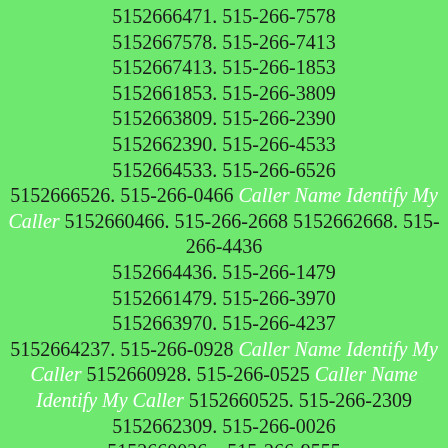5152666471. 515-266-7578 5152667578. 515-266-7413 5152667413. 515-266-1853 5152661853. 515-266-3809 5152663809. 515-266-2390 5152662390. 515-266-4533 5152664533. 515-266-6526 5152666526. 515-266-0466 Caller Name Identify My Caller 5152660466. 515-266-2668 5152662668. 515-266-4436 5152664436. 515-266-1479 5152661479. 515-266-3970 5152663970. 515-266-4237 5152664237. 515-266-0928 Caller Name Identify My Caller 5152660928. 515-266-0525 Caller Name Identify My Caller 5152660525. 515-266-2309 5152662309. 515-266-0026 5152660026. 515-266-9555 5152669555. 515-266-1549 5152661549. 515-266-8932 5152668932. 515-266-3588 5152663588. 515-266-3735 5152663735. 515-266-4093 5152664093. 515-266-1713